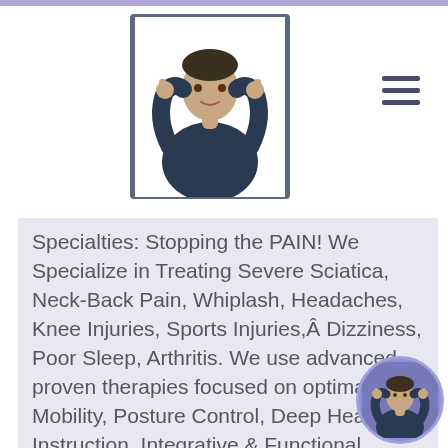[Figure (photo): Doctor in dark blue scrubs giving thumbs up, positioned in header area]
[Figure (illustration): Hamburger menu icon (three horizontal lines) in upper right corner]
Specialties: Stopping the PAIN! We Specialize in Treating Severe Sciatica, Neck-Back Pain, Whiplash, Headaches, Knee Injuries, Sports Injuries,Â Dizziness, Poor Sleep, Arthritis. We use advanced proven therapies focused on optimal Mobility, Posture Control, Deep Health Instruction, Integrative & Functional Medicine, Functional Fitness, Chronic Degenerative Disorder Treatment Protocols and Structural Conditioning. We also integrate Wellness Nutrition, Wellness Detoxification Protocols and Functional Medicine for chronic musculoskeletal disorders. We use
[Figure (photo): Small circular thumbnail of doctor in scrubs giving thumbs up, bottom right corner]